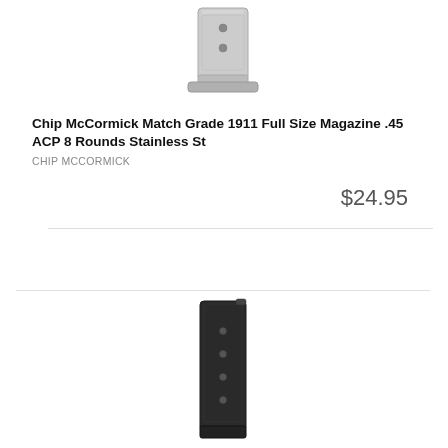[Figure (photo): Stainless steel 1911 pistol magazine, shown at an angle against white background]
Chip McCormick Match Grade 1911 Full Size Magazine .45 ACP 8 Rounds Stainless St
CHIP MCCORMICK
$24.95
[Figure (photo): Black 1911 pistol magazine, shown vertically against white background]